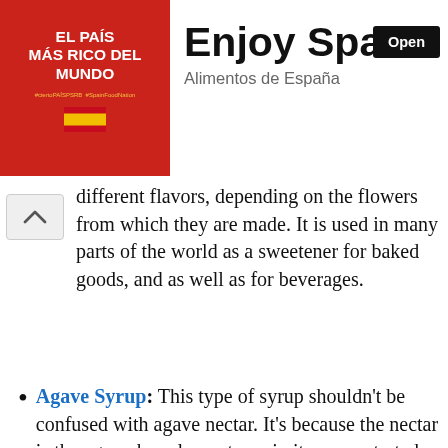[Figure (screenshot): Advertisement banner for 'Enjoy Spain - Alimentos de España' with red left panel showing 'El País Más Rico Del Mundo' text, and white right panel with 'Enjoy Spain' headline, 'Alimentos de España' subtitle, and black 'Open' button]
different flavors, depending on the flowers from which they are made. It is used in many parts of the world as a sweetener for baked goods, and as well as for beverages.
Agave Syrup: This type of syrup shouldn't be confused with agave nectar. It's because the nectar is the agave-based sweetener in its concentrated form right from the bottle. The [...]s in [...] ing in a [...] s syrup is usually used in tropical drinks.
This site uses cookies to store information on your computer. Some are essential to make our site work; others help us improve the user experience. By using the site, you consent to the placement of these cookies.
Agree & Dismiss